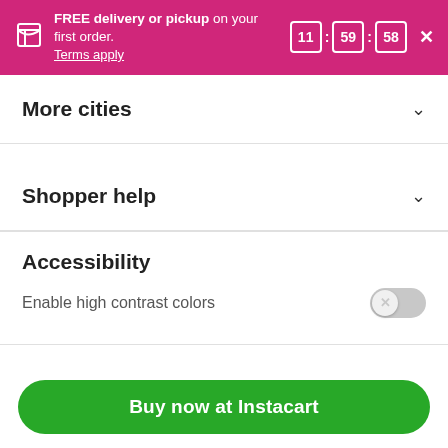FREE delivery or pickup on your first order. Terms apply. 11 : 59 : 58
More cities
Shopper help
Accessibility
Enable high contrast colors
Buy now at Instacart